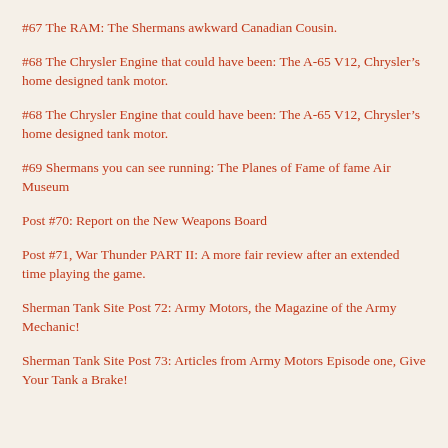#67 The RAM: The Shermans awkward Canadian Cousin.
#68 The Chrysler Engine that could have been: The A-65 V12, Chrysler’s home designed tank motor.
#68 The Chrysler Engine that could have been: The A-65 V12, Chrysler’s home designed tank motor.
#69 Shermans you can see running: The Planes of Fame of fame Air Museum
Post #70: Report on the New Weapons Board
Post #71, War Thunder PART II: A more fair review after an extended time playing the game.
Sherman Tank Site Post 72: Army Motors, the Magazine of the Army Mechanic!
Sherman Tank Site Post 73: Articles from Army Motors Episode one, Give Your Tank a Brake!